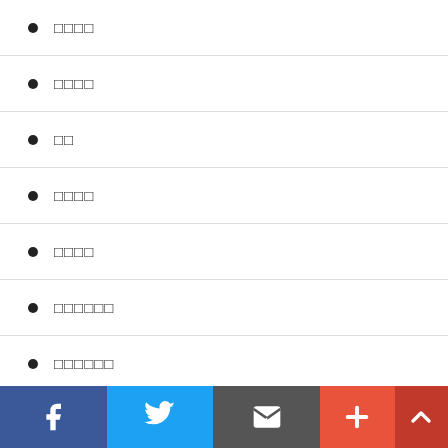□□□□
□□□□
□□
□□□□
□□□□
□□□□□□
□□□□□□
□□□□
□□□□